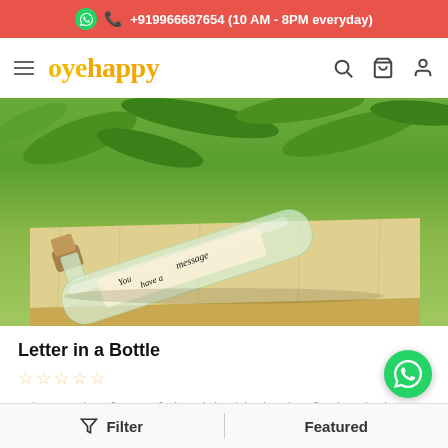+919966687654 (10 AM - 8PM everyday)
[Figure (logo): oyehappy logo with hamburger menu and nav icons]
[Figure (photo): A glass bottle with a cork stopper lying on a wooden box, with a rolled message inside reading 'You have a message', green foliage in background]
Letter in a Bottle
Take a trip of nostalgia with this handcrafted and vintage gift that is complemented with a customised message.
₹ 1,290.00
Filter | Featured